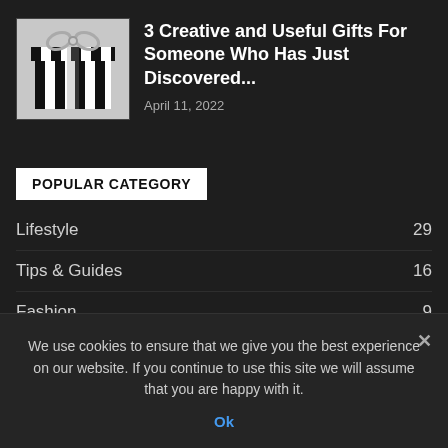[Figure (photo): Black and white striped gift box with a bow on top]
3 Creative and Useful Gifts For Someone Who Has Just Discovered...
April 11, 2022
POPULAR CATEGORY
Lifestyle  29
Tips & Guides  16
Fashion  9
Travel  8
Food  7
Arts & crafts  7
Sports  6
We use cookies to ensure that we give you the best experience on our website. If you continue to use this site we will assume that you are happy with it.
Ok